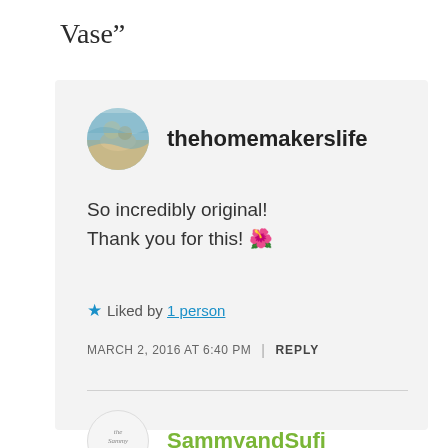Vase”
thehomemakerslife
So incredibly original! Thank you for this! 🌺
★ Liked by 1 person
MARCH 2, 2016 AT 6:40 PM | REPLY
SammyandSufi